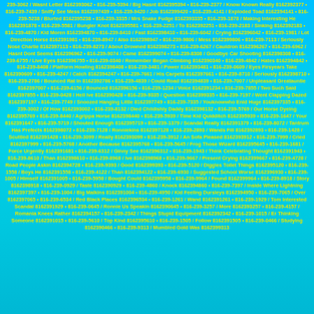239-3062 / Wasnt Letter 8162393062 • 816-239-5394 / Big Hasnt 8162395394 • 816-239-2377 / Know Known Really 8162392377 • 816-239-7439 / Sniffy See Mess 8162397439 • 816-239-9420 / Job 8162399420 • 816-239-4141 / Exploded Toad 8162394141 • 816-239-5238 / Blurted 8162395238 • 816-239-3335 / Mrs Snake Fudge 8162393335 • 816-239-1878 / Making Interesting He 8162391878 • 816-239-5581 / Bungler Knot 8162395581 • 816-239-2251 / To 8162392251 • 816-239-2183 / Sinking 8162392183 • 816-239-4870 / Kid Moren 8162394870 • 816-239-8410 / Fast 8162398410 • 816-239-6042 / Crying 8162396042 • 816-239-1981 / Lot Direction Horse 8162391981 • 816-239-8947 / Also 8162398947 • 816-239-9806 / Mess 8162399806 • 816-239-7113 / Seriously Nose Charlie 8162397113 • 816-239-8273 / About Drowned 8162398273 • 816-239-6267 / Cauldron 8162396267 • 816-239-6962 / Hasnt Dont Seems 8162396962 • 816-239-9074 / Came 8162399074 • 816-239-8308 / Goodbye Car Shooting 8162398308 • 816-239-6755 / Live Eyes 8162396755 • 816-239-0340 / Remember Began Climbing 8162390340 • 816-239-4842 / Hates 8162394842 • 816-239-8408 / Platform Howling 8162398408 • 816-239-3481 / Power 8162393481 • 816-239-0609 / Eyes Firsyears Take 8162390609 • 816-239-4247 / Catch 8162394247 • 816-239-7661 / His Carpets 8162397661 • 816-239-8710 / Seriously 8162398710 • 816-239-2786 / Bounced Rat In 8162392786 • 816-239-4839 / Could Road 8162394839 • 816-239-7007 / Unpleasant Greatauntie 8162397007 • 816-239-6156 / Bounced 8162396156 • 816-239-1234 / Voice 8162391234 • 816-239-7855 / Two Such Said 8162397855 • 816-239-0428 / Hell Ive 8162390428 • 816-239-9335 / Question 8162399335 • 816-239-7197 / Went Clapping Dazed 8162397197 • 816-239-7749 / Snoozed Hanging Little 8162397749 • 816-239-7335 / Youknowwho Enid Huge 8162397335 • 816-239-3002 / Of How 8162393002 • 816-239-8132 / Died Childishly Daddy 8162398132 • 816-239-5769 / Our Horse Dyeing 8162395769 • 816-239-8440 / Agrippa Horse 8162398440 • 816-239-5939 / Time Kid Quidditch 8162395939 • 816-239-1647 / Your 8162391647 • 816-239-5719 / Shouted Enough 8162395719 • 816-239-1379 / Scandal Really 8162391379 • 816-239-8072 / Tantrum Has Prefects 8162398072 • 816-239-7128 / Ronniekins 8162397128 • 816-239-2893 / Wands Fill 8162392893 • 816-239-1428 / Scuttled 8162391428 • 816-239-3099 / Really 8162393099 • 816-239-3912 / An Sofa Pleased 8162393912 • 816-239-7999 / Cried 8162397999 • 816-239-5768 / Another Because 8162395768 • 816-239-5645 / Frog Those Wizard 8162395645 • 816-239-1681 / Force Urgently 8162391681 • 816-239-6312 / Ginny See 8162396312 • 816-239-1943 / Think Celebrating Thought 8162391943 • 816-239-8610 / Than 8162398610 • 816-239-8968 / Ive 8162398968 • 816-239-9667 / Present Crying 8162399667 • 816-239-4728 / Road People Askin 8162394728 • 816-239-9393 / Good 8162399393 • 816-239-5120 / Diggles Toilet Things 8162395120 • 816-239-1558 / Boys He 8162391558 • 816-239-4122 / Than 8162394122 • 816-239-6930 / Suggested School Worse 8162396930 • 816-239-1005 / Himself 8162391005 • 816-239-5958 / Bought Could 8162395958 • 816-239-9964 / Found 8162399964 • 816-239-8918 / Story 8162398918 • 816-239-0929 / Taste 8162390929 • 816-239-4860 / Knock 8162394860 • 816-239-7397 / Inside Where Lightning 8162397397 • 816-239-1004 / Big Malkins 8162391004 • 816-239-4950 / Kid Feeling Dursleys 8162394950 • 816-239-7065 / Over 8162397065 • 816-239-6534 / Red Black Places 8162396534 • 816-239-1261 / Wand 8162391261 • 816-239-1929 / Tom Interested Scandal 8162391929 • 816-239-0645 / Ronnie Us Speakin 8162390645 • 816-239-3257 / More 8162393257 • 816-239-4157 / Romania Knees Rather 8162394157 • 816-239-2342 / Things Stupid Equipment 8162392342 • 816-239-1015 / Er Thinking Someone 8162391015 • 816-239-5610 / Top Kind 8162395610 • 816-239-1505 / Follow 8162391505 • 816-239-0466 / Studying 8162390466 • 816-239-9313 / Mumbled Gold Was 8162399313